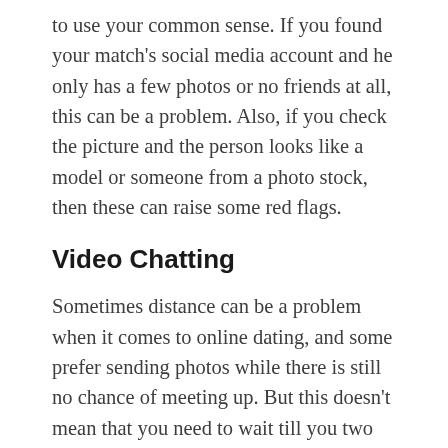to use your common sense. If you found your match's social media account and he only has a few photos or no friends at all, this can be a problem. Also, if you check the picture and the person looks like a model or someone from a photo stock, then these can raise some red flags.
Video Chatting
Sometimes distance can be a problem when it comes to online dating, and some prefer sending photos while there is still no chance of meeting up. But this doesn't mean that you need to wait till you two meet before you see the real deal. There are video calls